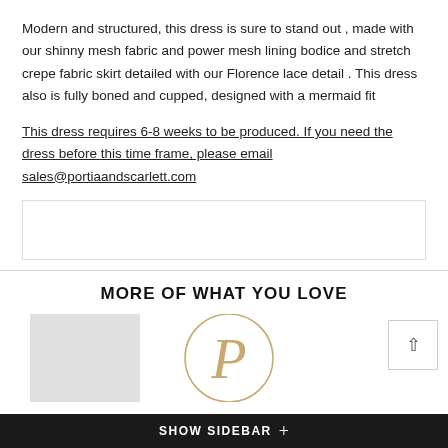Modern and structured, this dress is sure to stand out , made with our shinny mesh fabric and power mesh lining bodice and stretch crepe fabric skirt detailed with our Florence lace detail . This dress also is fully boned and cupped, designed with a mermaid fit
This dress requires 6-8 weeks to be produced. If you need the dress before this time frame, please email sales@portiaandscarlett.com
MORE OF WHAT YOU LOVE
[Figure (logo): Portia and Scarlett brand logo — circular gold emblem with letter P, partially visible]
[Figure (photo): Partial product photo on left side, light grey background]
SHOW SIDEBAR +